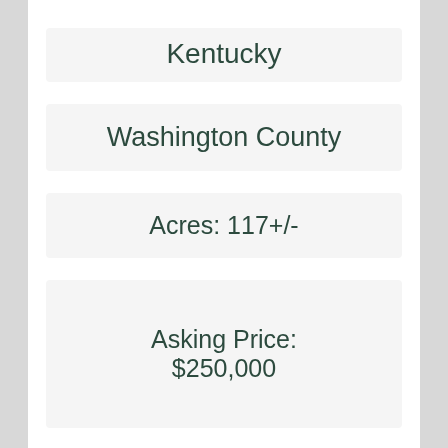Kentucky
Washington County
Acres: 117+/-
Asking Price: $250,000